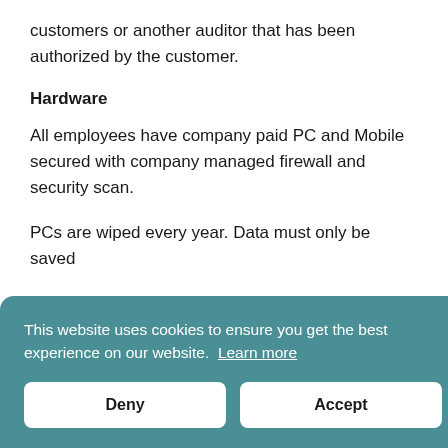customers or another auditor that has been authorized by the customer.
Hardware
All employees have company paid PC and Mobile secured with company managed firewall and security scan.
PCs are wiped every year. Data must only be saved
This website uses cookies to ensure you get the best experience on our website. Learn more
Deny
Accept